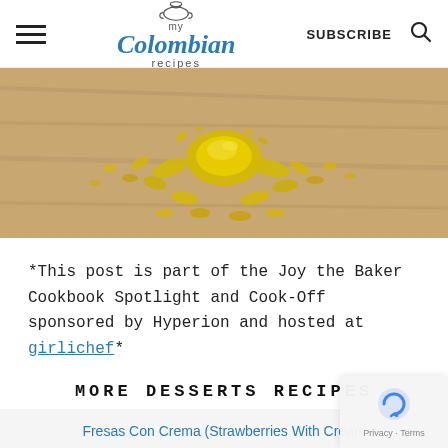my Colombian recipes — SUBSCRIBE
[Figure (photo): Close-up photo of yellow crumbled food (like scrambled eggs or corn) on a wooden cutting board surface.]
*This post is part of the Joy the Baker Cookbook Spotlight and Cook-Off sponsored by Hyperion and hosted at girlichef*
MORE DESSERTS RECIPES
Fresas Con Crema (Strawberries With Cream
Homemade Arequipe Or Dulce De Leche